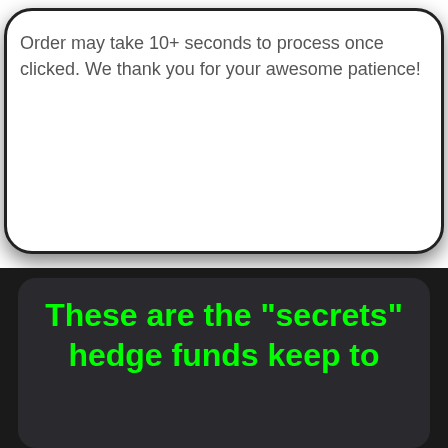Order may take 10+ seconds to process once clicked. We thank you for your awesome patience!
These are the "secrets" hedge funds keep to